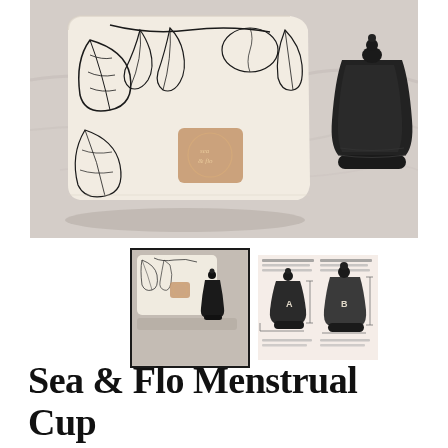[Figure (photo): Product photo of Sea & Flo Menstrual Cup: a white fabric pouch with black botanical line-art print and a tan leather logo patch in center, sitting on a marble surface. To the right is a black silicone menstrual cup standing upright.]
[Figure (photo): Thumbnail 1: smaller version of the product set — the botanical fabric pouch and black menstrual cup on a tray.]
[Figure (photo): Thumbnail 2: size comparison chart showing two menstrual cup sizes (A and B) labeled in dark grey, on a pinkish background with text describing the sizes.]
Sea & Flo Menstrual Cup